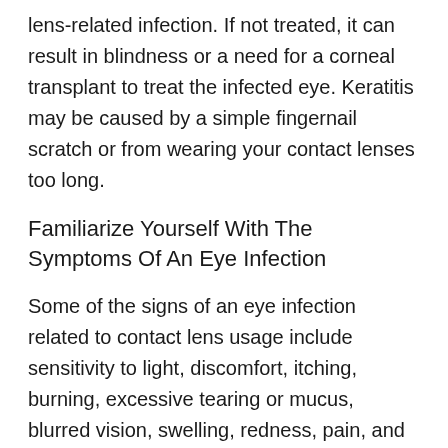lens-related infection. If not treated, it can result in blindness or a need for a corneal transplant to treat the infected eye. Keratitis may be caused by a simple fingernail scratch or from wearing your contact lenses too long.
Familiarize Yourself With The Symptoms Of An Eye Infection
Some of the signs of an eye infection related to contact lens usage include sensitivity to light, discomfort, itching, burning, excessive tearing or mucus, blurred vision, swelling, redness, pain, and a “gritty” feeling. You can avoid all of these by properly storing your contact lens.